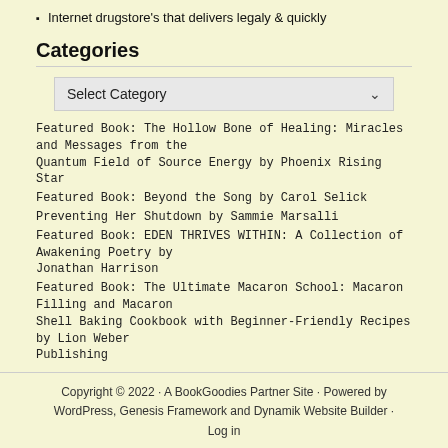Internet drugstore's that delivers legaly & quickly
Categories
[Figure (other): Select Category dropdown widget]
Featured Book: The Hollow Bone of Healing: Miracles and Messages from the Quantum Field of Source Energy by Phoenix Rising Star
Featured Book: Beyond the Song by Carol Selick
Preventing Her Shutdown by Sammie Marsalli
Featured Book: EDEN THRIVES WITHIN: A Collection of Awakening Poetry by Jonathan Harrison
Featured Book: The Ultimate Macaron School: Macaron Filling and Macaron Shell Baking Cookbook with Beginner-Friendly Recipes by Lion Weber Publishing
Copyright © 2022 · A BookGoodies Partner Site · Powered by WordPress, Genesis Framework and Dynamik Website Builder · Log in